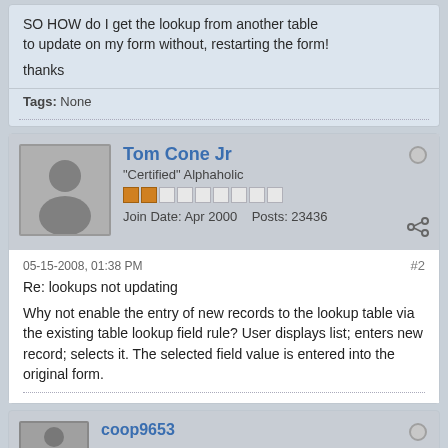SO HOW do I get the lookup from another table to update on my form without, restarting the form!

thanks
Tags: None
Tom Cone Jr
"Certified" Alphaholic
Join Date: Apr 2000    Posts: 23436
05-15-2008, 01:38 PM
#2
Re: lookups not updating
Why not enable the entry of new records to the lookup table via the existing table lookup field rule? User displays list; enters new record; selects it. The selected field value is entered into the original form.
coop9653